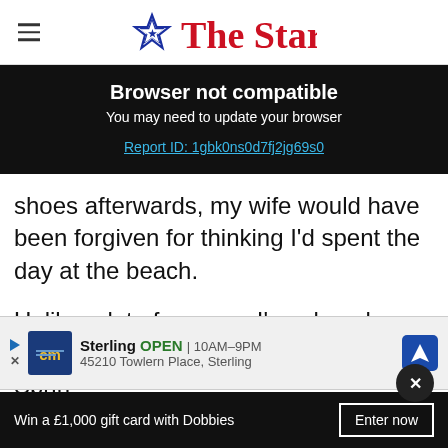The Star
Browser not compatible
You may need to update your browser
Report ID: 1gbk0ns0d7fj2jg69s0
shoes afterwards, my wife would have been forgiven for thinking I'd spent the day at the beach.
Unlike a lot of courses I've played on, The Sprin...
[Figure (screenshot): Advertisement banner for Sterling business showing logo, open hours 10AM-9PM, address 45210 Towlern Place, Sterling, with navigation icon]
Win a £1,000 gift card with Dobbies   Enter now